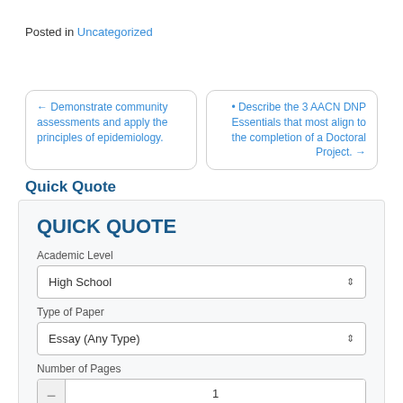Posted in Uncategorized
← Demonstrate community assessments and apply the principles of epidemiology.
• Describe the 3 AACN DNP Essentials that most align to the completion of a Doctoral Project. →
Quick Quote
QUICK QUOTE
Academic Level
High School
Type of Paper
Essay (Any Type)
Number of Pages